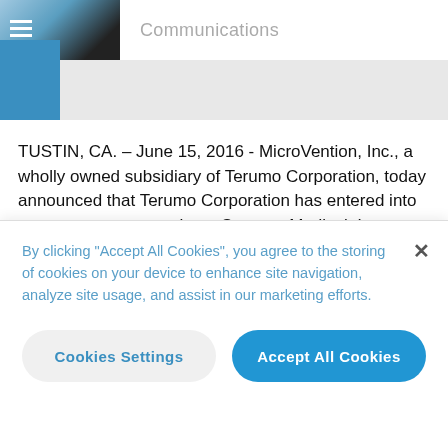Communications
TUSTIN, CA. – June 15, 2016 - MicroVention, Inc., a wholly owned subsidiary of Terumo Corporation, today announced that Terumo Corporation has entered into an agreement to purchase Sequent Medical, Inc, a privately-held firm based in Aliso Viejo, CA with European operations
By clicking "Accept All Cookies", you agree to the storing of cookies on your device to enhance site navigation, analyze site usage, and assist in our marketing efforts.
Cookies Settings
Accept All Cookies